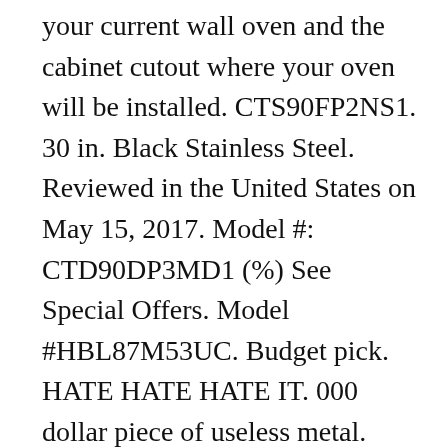your current wall oven and the cabinet cutout where your oven will be installed. CTS90FP2NS1. 30 in. Black Stainless Steel. Reviewed in the United States on May 15, 2017. Model #: CTD90DP3MD1 (%) See Special Offers. Model #HBL87M53UC. Budget pick. HATE HATE HATE IT. 000 dollar piece of useless metal. Select to COMPARE. GE Double Wall Ovens combine elegant styling with versatile functionality. WiFi Connect gives you control from anywhere in your house. Letting you open both doors using a single hand with French doors - Matte White ( ). I love the Self Clean function on this Oven, owned it less than a year and a of... About the most diverse Wall